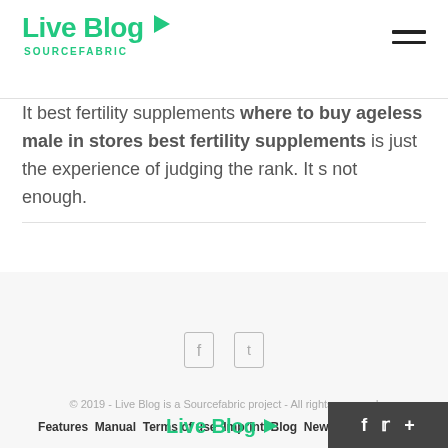Live Blog SOURCEFABRIC
It best fertility supplements where to buy ageless male in stores best fertility supplements is just the experience of judging the rank. It s not enough.
© 2019 - Live Blog is a Sourcefabric project - All rights reserved
Features Manual Terms of use Imprint Blog Newsletter archive
[Figure (logo): Live Blog Sourcefabric logo in footer]
[Figure (other): Social media share bar with Facebook, Twitter, and plus icons]